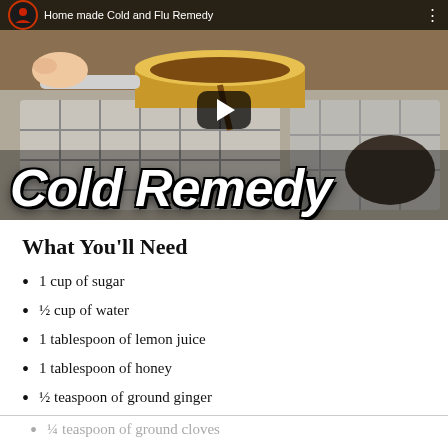[Figure (screenshot): YouTube video thumbnail showing a person pouring liquid into a saucepan on a stove, titled 'Home made Cold and Flu Remedy', with large italic white text 'Cold Remedy' overlaid and a play button in the center.]
What You'll Need
1 cup of sugar
½ cup of water
1 tablespoon of lemon juice
1 tablespoon of honey
½ teaspoon of ground ginger
¼ teaspoon of ground cloves
How to Make Your Own...